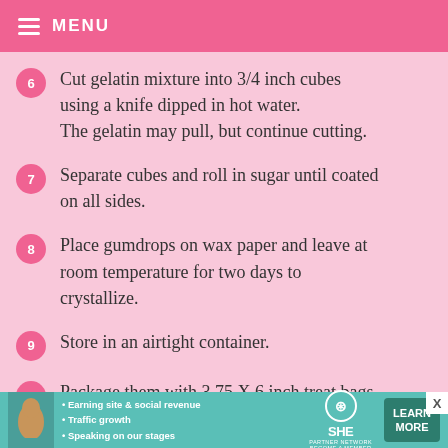MENU
6 — Cut gelatin mixture into 3/4 inch cubes using a knife dipped in hot water. The gelatin may pull, but continue cutting.
7 — Separate cubes and roll in sugar until coated on all sides.
8 — Place gumdrops on wax paper and leave at room temperature for two days to crystallize.
9 — Store in an airtight container.
10 — Package them with 3.75 X 6 inch treat bags
Earning site & social revenue • Traffic growth • Speaking on our stages | SHE PARTNER NETWORK BECOME A MEMBER | LEARN MORE